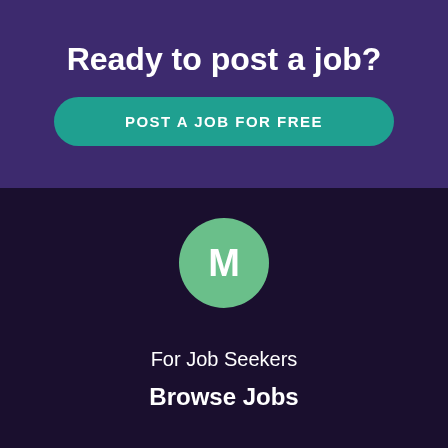Ready to post a job?
POST A JOB FOR FREE
[Figure (illustration): Green circle avatar with white letter M in the center, on dark purple background]
For Job Seekers
Browse Jobs